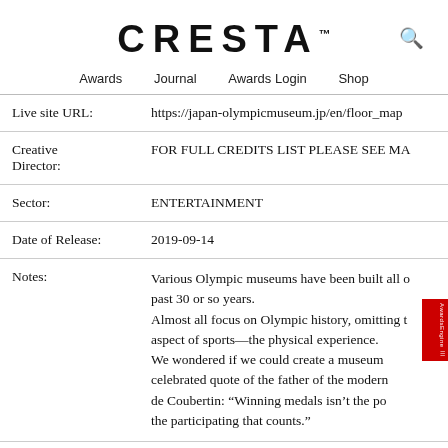CRESTA™
Awards   Journal   Awards Login   Shop
| Live site URL: | https://japan-olympicmuseum.jp/en/floor_map |
| Creative Director: | FOR FULL CREDITS LIST PLEASE SEE MA |
| Sector: | ENTERTAINMENT |
| Date of Release: | 2019-09-14 |
| Notes: | Various Olympic museums have been built all over the past 30 or so years. Almost all focus on Olympic history, omitting the aspect of sports—the physical experience. We wondered if we could create a museum celebrated quote of the father of the modern de Coubertin: "Winning medals isn't the point, the participating that counts." |